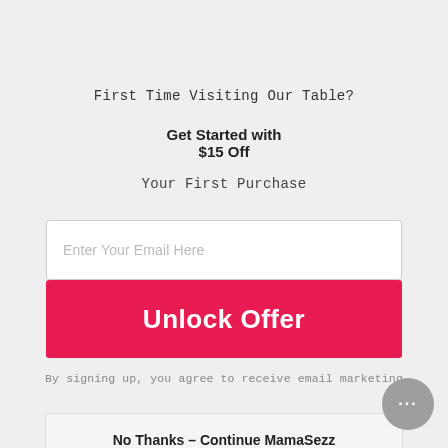First Time Visiting Our Table?
Get Started with $15 Off
Your First Purchase
Enter Your Email Here
Unlock Offer
By signing up, you agree to receive email marketing
No Thanks – Continue MamaSezz
[Figure (other): Chat bubble icon with ellipsis (…) indicating a live chat widget]